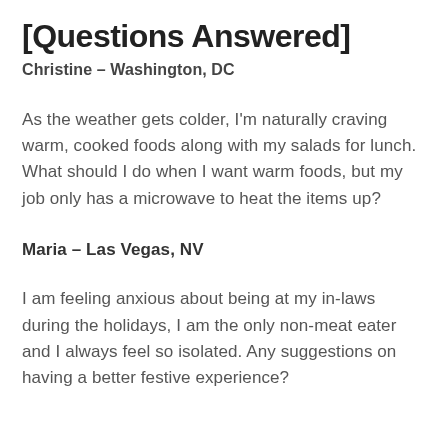[Questions Answered]
Christine – Washington, DC
As the weather gets colder, I'm naturally craving warm, cooked foods along with my salads for lunch. What should I do when I want warm foods, but my job only has a microwave to heat the items up?
Maria – Las Vegas, NV
I am feeling anxious about being at my in-laws during the holidays, I am the only non-meat eater and I always feel so isolated. Any suggestions on having a better festive experience?